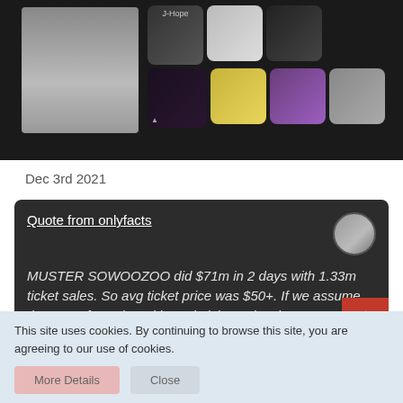[Figure (photo): Dark background image area with photo grid showing K-pop (BTS) related thumbnails including J-Hope label and group photos]
Dec 3rd 2021
Quote from onlyfacts
MUSTER SOWOOZOO did $71m in 2 days with 1.33m ticket sales. So avg ticket price was $50+. If we assume the same for today with 600k ticket sales, it means today's livestream alone generated around $30m.
We are not even talking about merch sales
This site uses cookies. By continuing to browse this site, you are agreeing to our use of cookies.